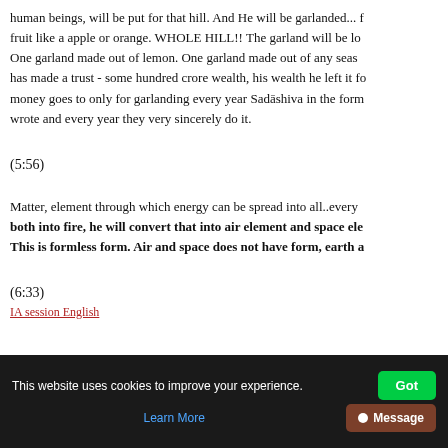human beings, will be put for that hill. And He will be garlanded... fruit like a apple or orange. WHOLE HILL!! The garland will be lo... One garland made out of lemon. One garland made out of any seas... has made a trust - some hundred crore wealth, his wealth he left it fo... money goes to only for garlanding every year Sadāshiva in the form... wrote and every year they very sincerely do it.
(5:56)
Matter, element through which energy can be spread into all..every... both into fire, he will convert that into air element and space ele... This is formless form. Air and space does not have form, earth a...
(6:33)
IA session English
This website uses cookies to improve your experience. Learn More Got Message